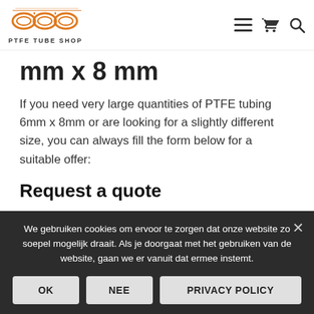PTFE TUBE SHOP
mm x 8 mm
If you need very large quantities of PTFE tubing 6mm x 8mm or are looking for a slightly different size, you can always fill the form below for a suitable offer:
Request a quote
First name *
We gebruiken cookies om ervoor te zorgen dat onze website zo soepel mogelijk draait. Als je doorgaat met het gebruiken van de website, gaan we er vanuit dat ermee instemt.
OK | NEE | PRIVACY POLICY